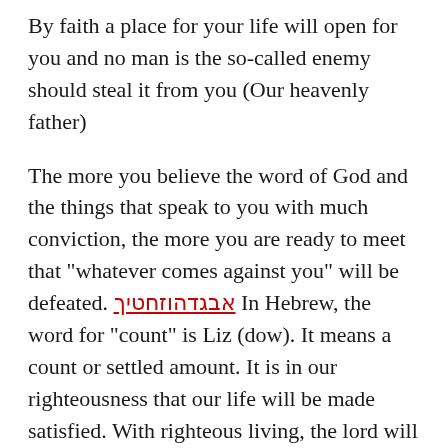By faith a place for your life will open for you and no man is the so-called enemy should steal it from you (Our heavenly father)
The more you believe the word of God and the things that speak to you with much conviction, the more you are ready to meet that "whatever comes against you" will be defeated. [Hebrew text] In Hebrew, the word for "count" is Liz (dow). It means a count or settled amount. It is in our righteousness that our life will be made satisfied. With righteous living, the lord will begin to work on your behalf. Faith is the requirement of the word of God.
To live out a life that is structured and controlled by this spirit, you have to determine all worldly things as compared to the One you put your faith in. Your faith is